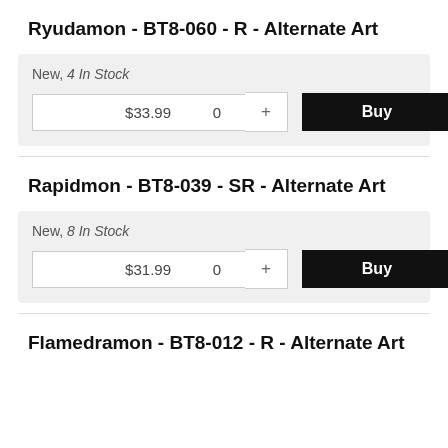Ryudamon - BT8-060 - R - Alternate Art
New, 4 In Stock
$33.99  0  +  Buy
Rapidmon - BT8-039 - SR - Alternate Art
New, 8 In Stock
$31.99  0  +  Buy
Flamedramon - BT8-012 - R - Alternate Art